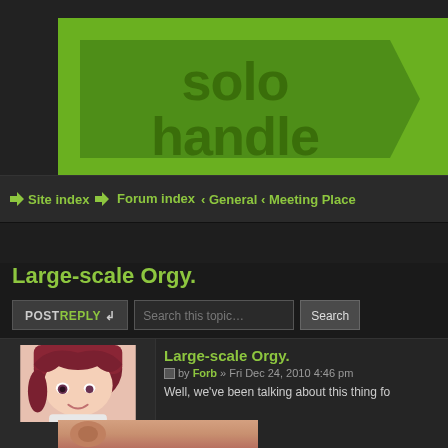[Figure (logo): solo handle website logo on green background with arrow-shaped bubble]
Site index · Forum index · General · Meeting Place
Large-scale Orgy.
POSTREPLY ↩ | Search this topic... | Search
Large-scale Orgy.
by Forb » Fri Dec 24, 2010 4:46 pm
Well, we've been talking about this thing fo
[Figure (illustration): Anime-style avatar of user Forb with reddish-brown hair]
Forb
Site Mod
[Figure (photo): Partial photo of a person's face/ear visible at bottom]